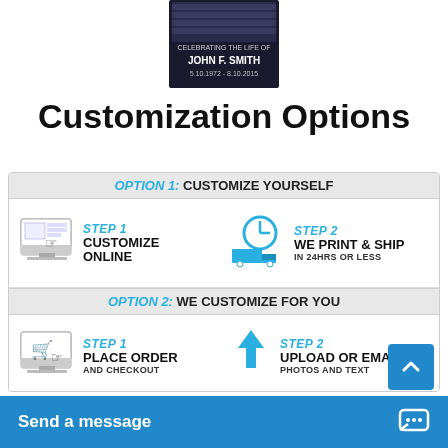[Figure (photo): Product image showing a memorial program/booklet for John F. Smith with dates 5.10.1972 - 8.10.2015]
Customization Options
[Figure (infographic): Option 1: Customize Yourself - Step 1: Customize Online, Step 2: We Print & Ship in 24hrs or less. Option 2: We Customize For You - Step 1: Place Order and Checkout, Step 2: Upload or Email Photos and Text, Step 3: We Customize and Email You a Proof, Step 4: You Approve We Print and Ship]
Send a message